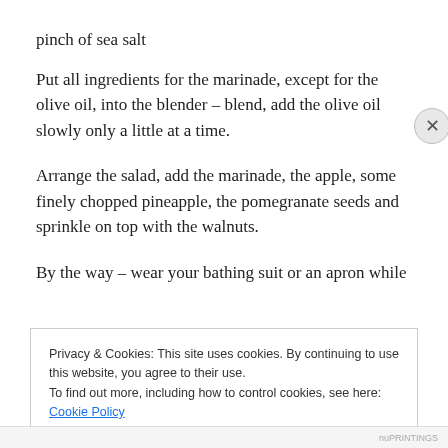pinch of sea salt
Put all ingredients for the marinade, except for the olive oil, into the blender – blend, add the olive oil slowly only a little at a time.
Arrange the salad, add the marinade, the apple, some finely chopped pineapple, the pomegranate seeds and sprinkle on top with the walnuts.
By the way – wear your bathing suit or an apron while
Privacy & Cookies: This site uses cookies. By continuing to use this website, you agree to their use.
To find out more, including how to control cookies, see here: Cookie Policy
Close and accept